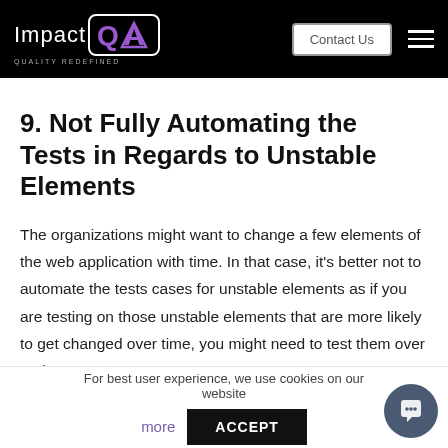[Figure (logo): Impact QA logo with purple QA symbol in white rounded box, tagline QUALITY REDEFINED, Contact Us button, hamburger menu on black header bar]
9. Not Fully Automating the Tests in Regards to Unstable Elements
The organizations might want to change a few elements of the web application with time. In that case, it's better not to automate the tests cases for unstable elements as if you are testing on those unstable elements that are more likely to get changed over time, you might need to test them over and
For best user experience, we use cookies on our website  more  ACCEPT